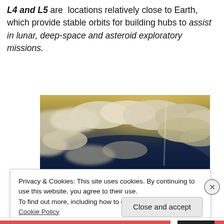L4 and L5 are locations relatively close to Earth, which provide stable orbits for building hubs to assist in lunar, deep-space and asteroid exploratory missions.
[Figure (photo): Aerial photo of Earth showing clouds over deep blue ocean, taken from high altitude. Photo credit: David Johanson Vasquez © All]
Privacy & Cookies: This site uses cookies. By continuing to use this website, you agree to their use.
To find out more, including how to control cookies, see here: Cookie Policy